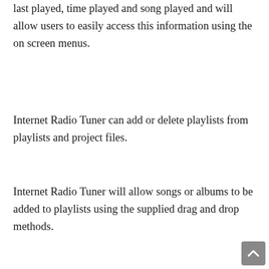last played, time played and song played and will allow users to easily access this information using the on screen menus.
Internet Radio Tuner can add or delete playlists from playlists and project files.
Internet Radio Tuner will allow songs or albums to be added to playlists using the supplied drag and drop methods.
Internet Radio Tuner works with both the front and back ends of the Windows Media Player Libraries and will therefore work with Windows Media Player 7 and higher.
Internet Radio Tuner will work with projects and playlists created by Windows Media Player libraries of any music